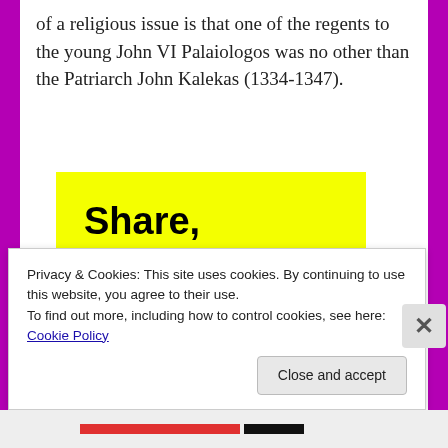of a religious issue is that one of the regents to the young John VI Palaiologos was no other than the Patriarch John Kalekas (1334-1347).
[Figure (illustration): Yellow box with large bold black text reading: Share, Discuss, Collaborate, P2.]
Privacy & Cookies: This site uses cookies. By continuing to use this website, you agree to their use.
To find out more, including how to control cookies, see here: Cookie Policy